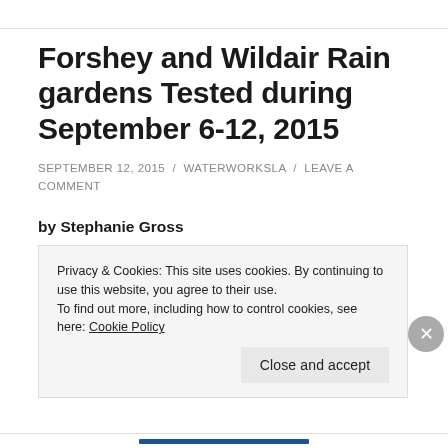Forshey and Wildair Rain gardens Tested during September 6-12, 2015
SEPTEMBER 12, 2015 / WATERWORKSLA / LEAVE A COMMENT
by Stephanie Gross
It has been a wet week- perfect for reporting the data collected at the Forshey and Wildair sites.
Privacy & Cookies: This site uses cookies. By continuing to use this website, you agree to their use.
To find out more, including how to control cookies, see here: Cookie Policy
Close and accept